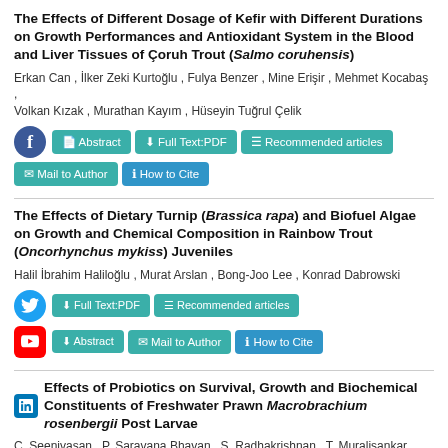The Effects of Different Dosage of Kefir with Different Durations on Growth Performances and Antioxidant System in the Blood and Liver Tissues of Çoruh Trout (Salmo coruhensis)
Erkan Can , İlker Zeki Kurtoğlu , Fulya Benzer , Mine Erişir , Mehmet Kocabaş , Volkan Kızak , Murathan Kayım , Hüseyin Tuğrul Çelik
The Effects of Dietary Turnip (Brassica rapa) and Biofuel Algae on Growth and Chemical Composition in Rainbow Trout (Oncorhynchus mykiss) Juveniles
Halil İbrahim Haliloğlu , Murat Arslan , Bong-Joo Lee , Konrad Dabrowski
Effects of Probiotics on Survival, Growth and Biochemical Constituents of Freshwater Prawn Macrobrachium rosenbergii Post Larvae
C. Seenivasan , P. Saravana Bhavan , S. Radhakrishnan , T. Muralisankar